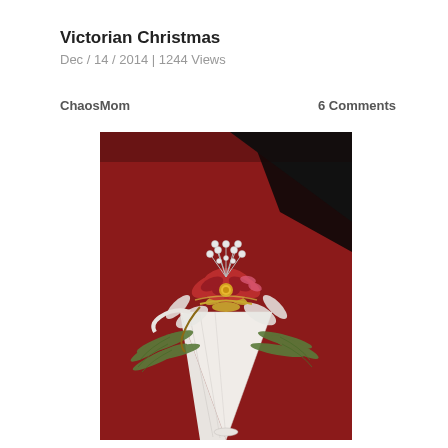Victorian Christmas
Dec / 14 / 2014 | 1244 Views
ChaosMom
6 Comments
[Figure (photo): A Victorian-style Christmas cone posy/tussie-mussie with red and gold poinsettia-like flowers, white pearl sprays, green fern sprigs, and gold trim, held in a white fabric cone, resting on red fabric background.]